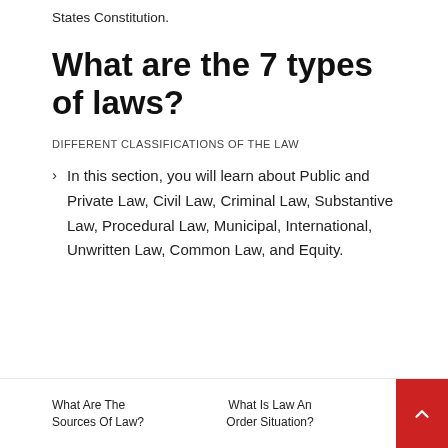States Constitution.
What are the 7 types of laws?
DIFFERENT CLASSIFICATIONS OF THE LAW
In this section, you will learn about Public and Private Law, Civil Law, Criminal Law, Substantive Law, Procedural Law, Municipal, International, Unwritten Law, Common Law, and Equity.
What Are The Sources Of Law?   What Is Law And Order Situation?